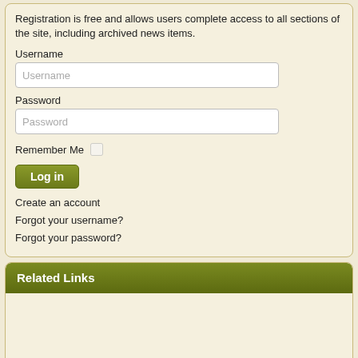Registration is free and allows users complete access to all sections of the site, including archived news items.
Username
Password
Remember Me
Log in
Create an account
Forgot your username?
Forgot your password?
Related Links
Recommended Books